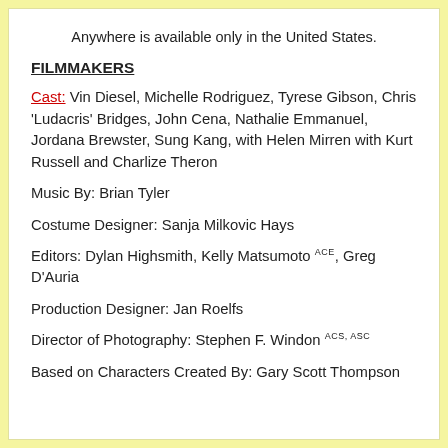Anywhere is available only in the United States.
FILMMAKERS
Cast: Vin Diesel, Michelle Rodriguez, Tyrese Gibson, Chris 'Ludacris' Bridges, John Cena, Nathalie Emmanuel, Jordana Brewster, Sung Kang, with Helen Mirren with Kurt Russell and Charlize Theron
Music By: Brian Tyler
Costume Designer: Sanja Milkovic Hays
Editors: Dylan Highsmith, Kelly Matsumoto ACE, Greg D'Auria
Production Designer: Jan Roelfs
Director of Photography: Stephen F. Windon ACS, ASC
Based on Characters Created By: Gary Scott Thompson